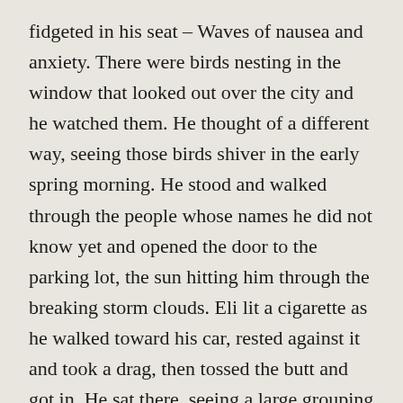fidgeted in his seat – Waves of nausea and anxiety. There were birds nesting in the window that looked out over the city and he watched them. He thought of a different way, seeing those birds shiver in the early spring morning. He stood and walked through the people whose names he did not know yet and opened the door to the parking lot, the sun hitting him through the breaking storm clouds. Eli lit a cigarette as he walked toward his car, rested against it and took a drag, then tossed the butt and got in. He sat there, seeing a large grouping of birds fly over, blocking out the light for a moment. He started the car and went home. The loft was stagnant. Silent. There was the smell of old dishes. The heat turned on with a mechanical whine. Light crept in through the blinds.